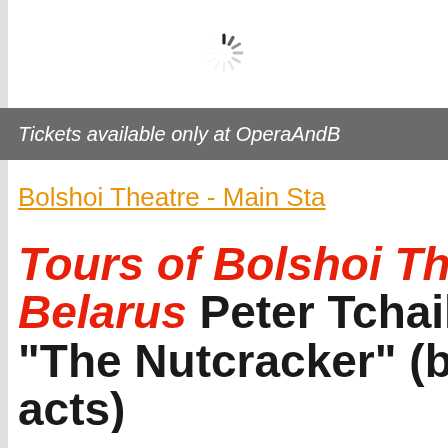[Figure (other): Loading spinner / activity indicator icon in dark gray]
Tickets available only at OperaAndB
Bolshoi Theatre - Main Sta
Tours of Bolshoi The Belarus Peter Tchaiko "The Nutcracker" (balle acts)